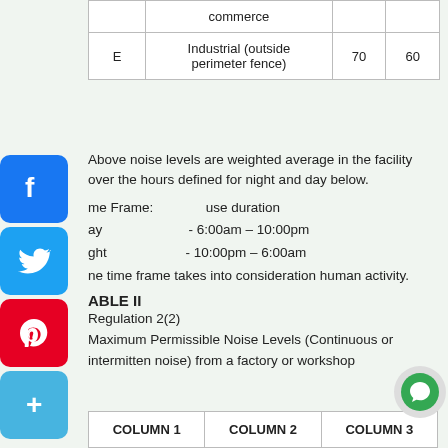|  | Description | Day | Night |
| --- | --- | --- | --- |
|  | commerce |  |  |
| E | Industrial (outside perimeter fence) | 70 | 60 |
Above noise levels are weighted average in the facility over the hours defined for night and day below.
Time Frame:                    use duration
Day                               – 6:00am – 10:00pm
Night                              – 10:00pm – 6:00am
The time frame takes into consideration human activity.
TABLE II
Regulation 2(2)
Maximum Permissible Noise Levels (Continuous or intermittent noise) from a factory or workshop
| COLUMN 1 | COLUMN 2 | COLUMN 3 |
| --- | --- | --- |